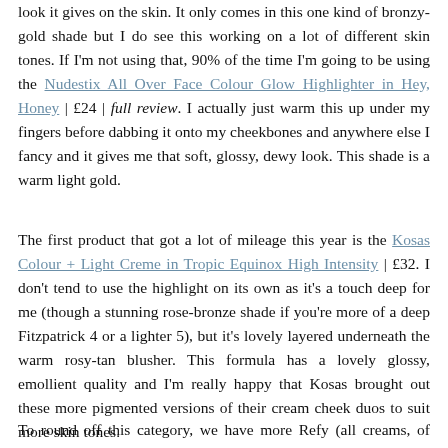look it gives on the skin. It only comes in this one kind of bronzy-gold shade but I do see this working on a lot of different skin tones. If I'm not using that, 90% of the time I'm going to be using the Nudestix All Over Face Colour Glow Highlighter in Hey, Honey | £24 | full review. I actually just warm this up under my fingers before dabbing it onto my cheekbones and anywhere else I fancy and it gives me that soft, glossy, dewy look. This shade is a warm light gold.
The first product that got a lot of mileage this year is the Kosas Colour + Light Creme in Tropic Equinox High Intensity | £32. I don't tend to use the highlight on its own as it's a touch deep for me (though a stunning rose-bronze shade if you're more of a deep Fitzpatrick 4 or a lighter 5), but it's lovely layered underneath the warm rosy-tan blusher. This formula has a lovely glossy, emollient quality and I'm really happy that Kosas brought out these more pigmented versions of their cream cheek duos to suit more skin tones.
To round off this category, we have more Refy (all creams, of course), which was really a great 2021 find for me as a brand. The